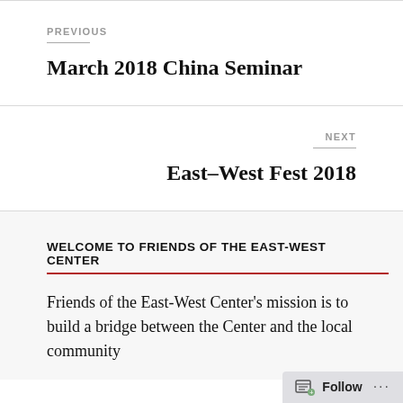PREVIOUS
March 2018 China Seminar
NEXT
East-West Fest 2018
WELCOME TO FRIENDS OF THE EAST-WEST CENTER
Friends of the East-West Center's mission is to build a bridge between the Center and the local community